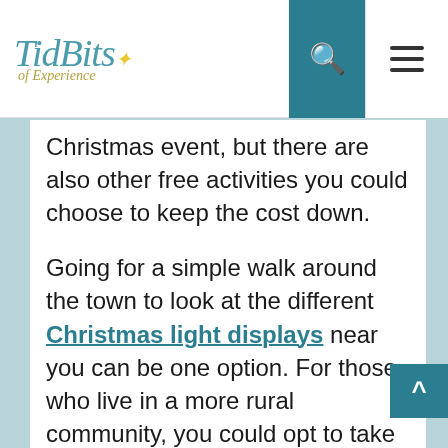TidBits of Experience
Christmas event, but there are also other free activities you could choose to keep the cost down.
Going for a simple walk around the town to look at the different Christmas light displays near you can be one option. For those who live in a more rural community, you could opt to take a walk in forests or fields, so long as they are accessible for everyone.
You may also want to bring a bit more magic into your home, especially for your children. When your kids